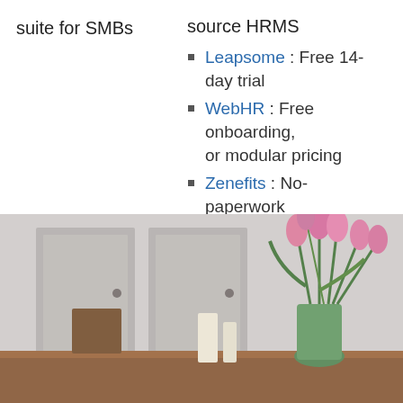suite for SMBs
source HRMS
Leapsome : Free 14-day trial
WebHR : Free onboarding, or modular pricing
Zenefits : No-paperwork employee onboarding
[Figure (photo): Photo of a dining table with a vase of pink tulips and some white candles in the foreground, with blurred wardrobe/furniture in the background.]